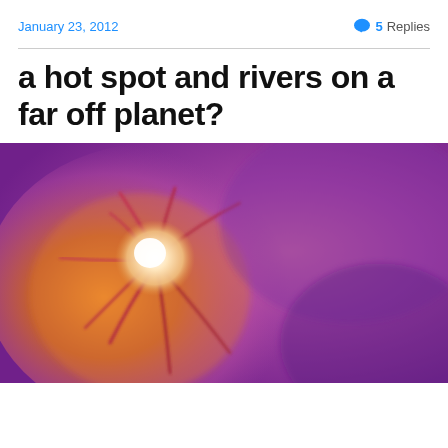January 23, 2012    💬 5 Replies
a hot spot and rivers on a far off planet?
[Figure (photo): Close-up photograph of a human retina showing the optic disc (bright white/yellow spot) with blood vessels radiating outward, surrounded by orange and purple/magenta tones — resembling a planet or astronomical body.]